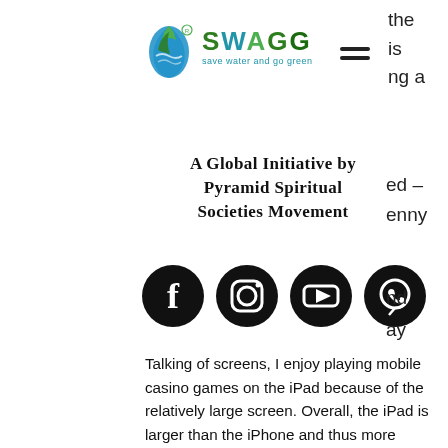[Figure (logo): SWAGG logo — stylized water drop with leaf in blue and green, text 'SWAGG' and tagline 'save water and go green']
A Global Initiative by Pyramid Spiritual Societies Movement
[Figure (infographic): Row of four social media icons: Facebook, Instagram, YouTube, WhatsApp — all black circular icons]
Talking of screens, I enjoy playing mobile casino games on the iPad because of the relatively large screen. Overall, the iPad is larger than the iPhone and thus more flexible if you want to use multiple applications, full house slot machine. However, I think both devices are great options for online gamblers who prefer Apple devices over other devices. After doing my research, I have realised that iPad casino apps have gained popularity